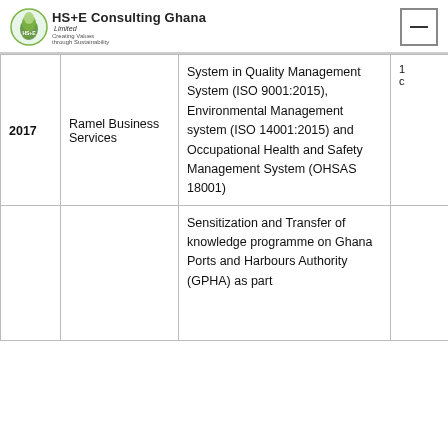HS+E Consulting Ghana Limited
| Year | Client | Service/Description |  |
| --- | --- | --- | --- |
| 2017 | Ramel Business Services | System in Quality Management System (ISO 9001:2015), Environmental Management system (ISO 14001:2015) and Occupational Health and Safety Management System (OHSAS 18001) | 1 c |
|  |  | Sensitization and Transfer of knowledge programme on Ghana Ports and Harbours Authority (GPHA) as part |  |